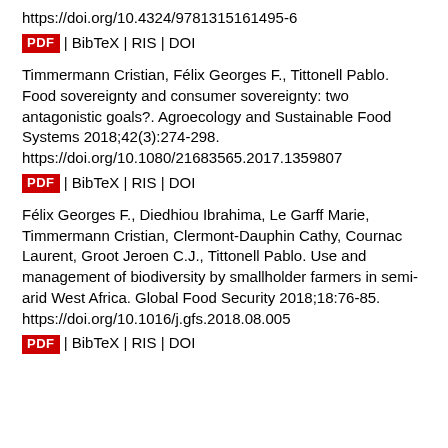https://doi.org/10.4324/9781315161495-6
PDF | BibTeX | RIS | DOI
Timmermann Cristian, Félix Georges F., Tittonell Pablo. Food sovereignty and consumer sovereignty: two antagonistic goals?. Agroecology and Sustainable Food Systems 2018;42(3):274-298. https://doi.org/10.1080/21683565.2017.1359807
PDF | BibTeX | RIS | DOI
Félix Georges F., Diedhiou Ibrahima, Le Garff Marie, Timmermann Cristian, Clermont-Dauphin Cathy, Cournac Laurent, Groot Jeroen C.J., Tittonell Pablo. Use and management of biodiversity by smallholder farmers in semi-arid West Africa. Global Food Security 2018;18:76-85. https://doi.org/10.1016/j.gfs.2018.08.005
PDF | BibTeX | RIS | DOI